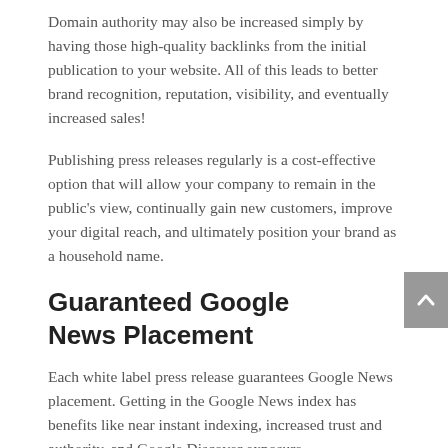Domain authority may also be increased simply by having those high-quality backlinks from the initial publication to your website. All of this leads to better brand recognition, reputation, visibility, and eventually increased sales!
Publishing press releases regularly is a cost-effective option that will allow your company to remain in the public's view, continually gain new customers, improve your digital reach, and ultimately position your brand as a household name.
Guaranteed Google News Placement
Each white label press release guarantees Google News placement. Getting in the Google News index has benefits like near instant indexing, increased trust and authority, and Google Discover exposure.
Google loves sites that have newsworthy content and